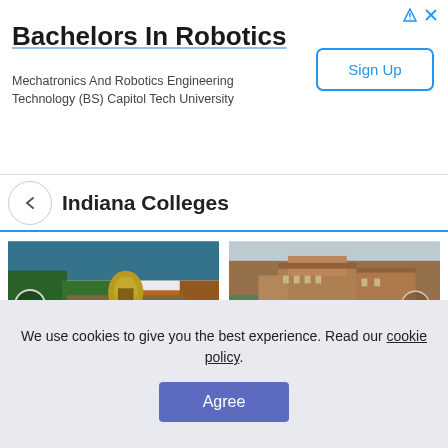[Figure (screenshot): Advertisement banner for Bachelors In Robotics - Mechatronics And Robotics Engineering Technology (BS) Capitol Tech University with Sign Up button]
Bachelors In Robotics
Mechatronics And Robotics Engineering Technology (BS) Capitol Tech University
Indiana Colleges
[Figure (photo): Aerial view of University of Notre Dame campus with golden dome surrounded by autumn trees and lake]
University of Notre Dame
[Figure (photo): Aerial view of Purdue University-Main Campus with brick buildings and green spaces]
Purdue University-Main Campus
We use cookies to give you the best experience. Read our cookie policy.